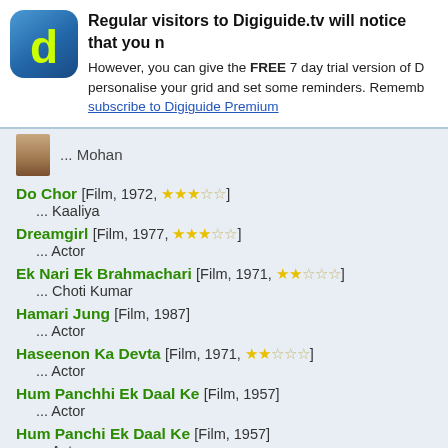[Figure (screenshot): Digiguide.tv logo: blue rounded square with yellow-green letter d]
Regular visitors to Digiguide.tv will notice that you n
However, you can give the FREE 7 day trial version of D personalise your grid and set some reminders. Rememb subscribe to Digiguide Premium
... Mohan
Do Chor [Film, 1972, ★★★☆☆] ... Kaaliya
Dreamgirl [Film, 1977, ★★★☆☆] ... Actor
Ek Nari Ek Brahmachari [Film, 1971, ★★☆☆☆] ... Choti Kumar
Hamari Jung [Film, 1987] ... Actor
Haseenon Ka Devta [Film, 1971, ★★☆☆☆] ... Actor
Hum Panchhi Ek Daal Ke [Film, 1957] ... Actor
Hum Panchi Ek Daal Ke [Film, 1957] ... Actor